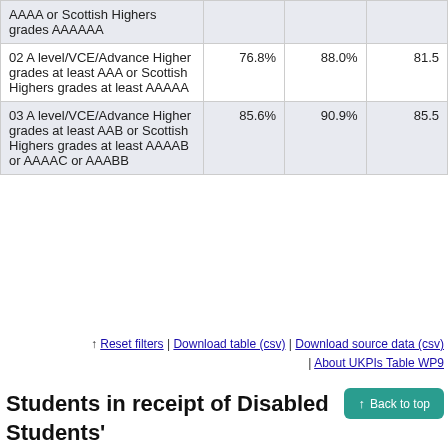| Entry qualification | Col 1 | Col 2 | Col 3 |
| --- | --- | --- | --- |
| AAAA or Scottish Highers grades AAAAAA |  |  |  |
| 02 A level/VCE/Advanced Higher grades at least AAA or Scottish Highers grades at least AAAAA | 76.8% | 88.0% | 81.5… |
| 03 A level/VCE/Advanced Higher grades at least AAB or Scottish Highers grades at least AAAAB or AAAAC or AAABB | 85.6% | 90.9% | 85.5… |
↑ Reset filters | Download table (csv) | Download source data (csv) | About UKPIs Table WP9…
Students in receipt of Disabled Students' Allowance (Table T7)